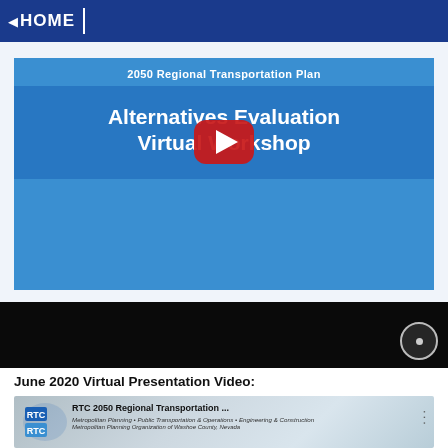HOME
[Figure (screenshot): YouTube thumbnail for '2050 Regional Transportation Plan – Alternatives Evaluation Virtual Workshop' with blue background and white bold text, with YouTube play button overlay]
[Figure (screenshot): Black video player bar with a circle/settings icon on the right]
June 2020 Virtual Presentation Video:
[Figure (screenshot): RTC 2050 Regional Transportation Plan YouTube thumbnail preview showing RTC logo and subtitle 'Metropolitan Planning • Public Transportation & Operations • Engineering & Construction, Metropolitan Planning Organization of Washoe County, Nevada']
[Figure (screenshot): Partial thumbnail: '2050 Regional Transportation Plan – Alternatives Development Workshop' with YouTube play button, blue gradient background]